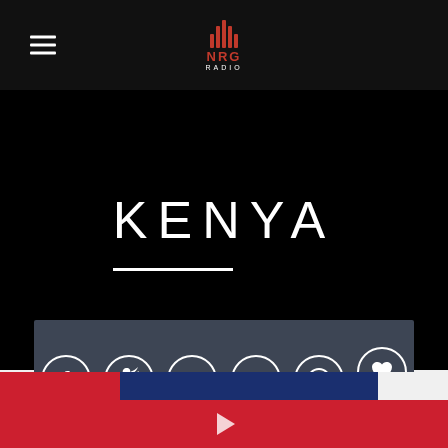[Figure (logo): NRG Radio logo with red vertical bars and text NRG RADIO in white/red]
KENYA
[Figure (infographic): Social sharing bar with Facebook, Twitter, Pinterest, LinkedIn, WhatsApp, and Heart/Like icons. Like count shows 1.]
[Figure (infographic): Bottom red bar with a play button triangle icon, and partial content strips in red and blue above it]